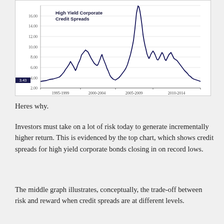[Figure (continuous-plot): Line chart showing High Yield Corporate Credit Spreads from approximately 1993 to 2014. Y-axis ranges from 2.00 to above 16.00. X-axis shows periods: 1995-1999, 2000-2004, 2005-2009, 2010-2014. A highlighted value of 3.43 is shown on the left y-axis. The line shows peaks around 2000-2002 (~10), a massive spike around 2008-2009 (~18+), and troughs near record lows around 2014 (~3.43).]
Heres why.
Investors must take on a lot of risk today to generate incrementally higher return. This is evidenced by the top chart, which shows credit spreads for high yield corporate bonds closing in on record lows.
The middle graph illustrates, conceptually, the trade-off between risk and reward when credit spreads are at different levels.